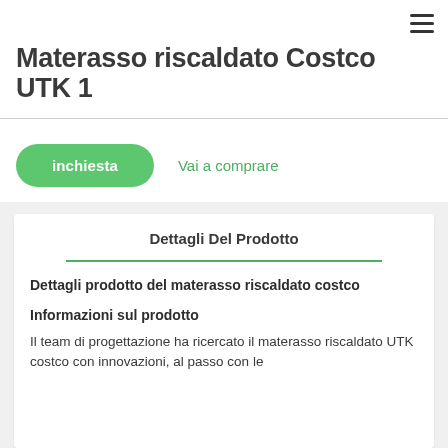☰
Materasso riscaldato Costco UTK 1
inchiesta   Vai a comprare
Dettagli Del Prodotto
Dettagli prodotto del materasso riscaldato costco
Informazioni sul prodotto
Il team di progettazione ha ricercato il materasso riscaldato UTK costco con innovazioni, al passo con le